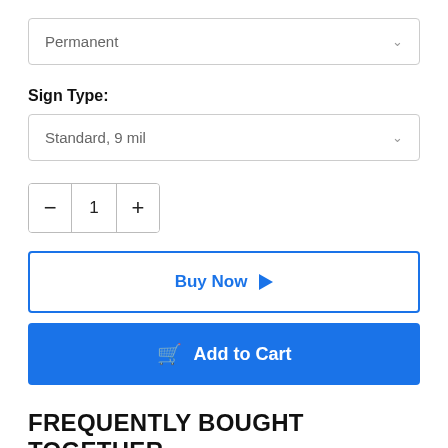Permanent
Sign Type:
Standard, 9 mil
- 1 +
Buy Now ▶
Add to Cart
FREQUENTLY BOUGHT TOGETHER